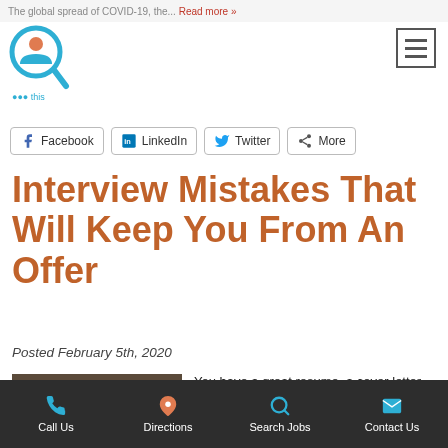The global spread of COVID-19, the... Read more »
Facebook  LinkedIn  Twitter  More
Interview Mistakes That Will Keep You From An Offer
Posted February 5th, 2020
[Figure (photo): Two people shaking hands across a desk in what appears to be a job interview setting]
You have a great resume, a cover letter that dazzles, impeccable references–the only think left is the interview. So make sure you don't make these mistakes. Don't...
Call Us  Directions  Search Jobs  Contact Us